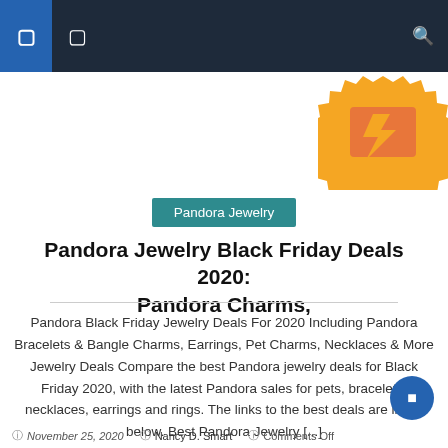Navigation bar with menu icons and search
[Figure (illustration): Orange and red badge/sticker graphic with zigzag border in top right corner]
Pandora Jewelry
Pandora Jewelry Black Friday Deals 2020: Pandora Charms,
Pandora Black Friday Jewelry Deals For 2020 Including Pandora Bracelets & Bangle Charms, Earrings, Pet Charms, Necklaces & More Jewelry Deals Compare the best Pandora jewelry deals for Black Friday 2020, with the latest Pandora sales for pets, bracelets, necklaces, earrings and rings. The links to the best deals are listed below. Best Pandora Jewelry [...]
November 25, 2020   Nancy D. Smart   Comments Off